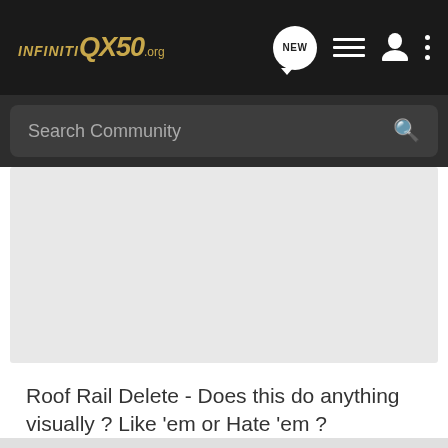[Figure (screenshot): InfinitiQX50.org website navigation bar with logo, NEW chat bubble icon, list icon, user icon, and dots menu icon on dark background]
[Figure (screenshot): Search Community input bar with magnifying glass icon on dark gray background]
[Figure (photo): Light gray image placeholder area representing a photo of Roof Rail Delete on a vehicle]
Roof Rail Delete - Does this do anything visually ? Like 'em or Hate 'em ?